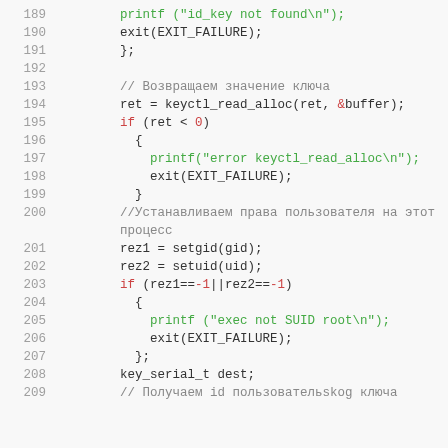Code listing lines 189–209 showing C code with Russian comments
189    printf ("id_key not found\n");
190    exit(EXIT_FAILURE);
191    };
192
193    // Возвращаем значение ключа
194    ret = keyctl_read_alloc(ret, &buffer);
195    if (ret < 0)
196    {
197        printf("error keyctl_read_alloc\n");
198        exit(EXIT_FAILURE);
199    }
200    //Устанавливаем права пользователя на этот процесс
201    rez1 = setgid(gid);
202    rez2 = setuid(uid);
203    if (rez1==-1||rez2==-1)
204    {
205        printf ("exec not SUID root\n");
206        exit(EXIT_FAILURE);
207    };
208    key_serial_t dest;
209    // Получаем id пользовательskog ключа